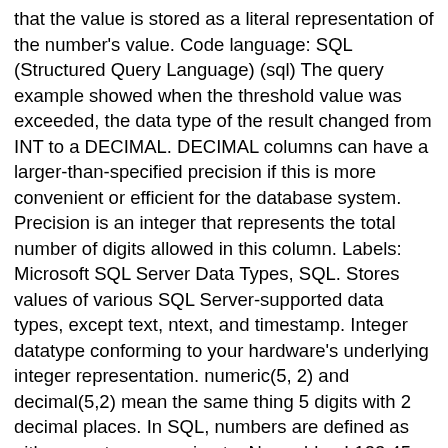that the value is stored as a literal representation of the number's value. Code language: SQL (Structured Query Language) (sql) The query example showed when the threshold value was exceeded, the data type of the result changed from INT to a DECIMAL. DECIMAL columns can have a larger-than-specified precision if this is more convenient or efficient for the database system. Precision is an integer that represents the total number of digits allowed in this column. Labels: Microsoft SQL Server Data Types, SQL. Stores values of various SQL Server-supported data types, except text, ntext, and timestamp. Integer datatype conforming to your hardware's underlying integer representation. numeric(5, 2) and decimal(5,2) mean the same thing 5 digits with 2 decimal places. In SQL, numbers are defined as either exact or approximate. No problem! 123.45. at 18:05. Determining data type also restricts the user from entering any unexpected or invalid data. MySQL supports all standard SQL integer types INTEGER or INT and SMALLINT. Stores a database-wide unique number that gets updated every time a row gets updated. The bit data type is used to store 1 or 0, to represent logical true and false values. By using numeric data types we can define columns that accepts only numeric values. If you are building your database for e-commerce, then...